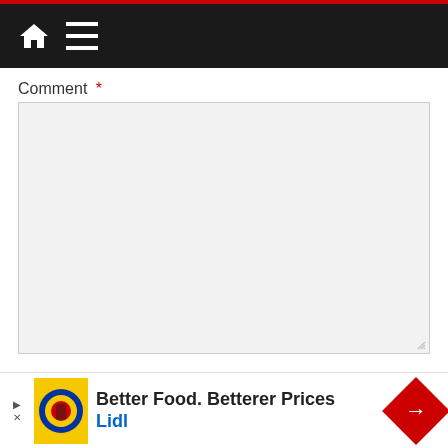[Figure (screenshot): Navigation bar with home icon and hamburger menu icon on dark background with red top border]
Comment *
[Figure (other): Empty comment textarea input box]
Name *
[Figure (other): Empty name text input box]
[Figure (other): Advertisement banner: Better Food. Betterer Prices - Lidl]